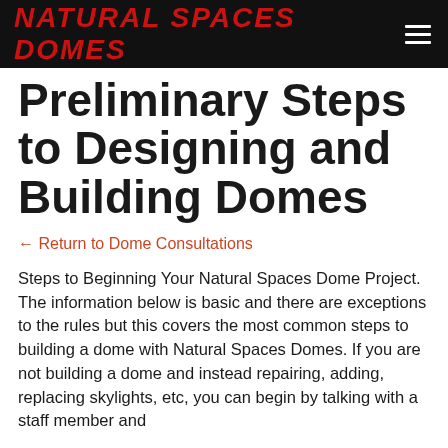NATURAL SPACES DOMES
Preliminary Steps to Designing and Building Domes
← Return to Dome Consultations
Steps to Beginning Your Natural Spaces Dome Project.
The information below is basic and there are exceptions to the rules but this covers the most common steps to building a dome with Natural Spaces Domes. If you are not building a dome and instead repairing, adding, replacing skylights, etc, you can begin by talking with a staff member and